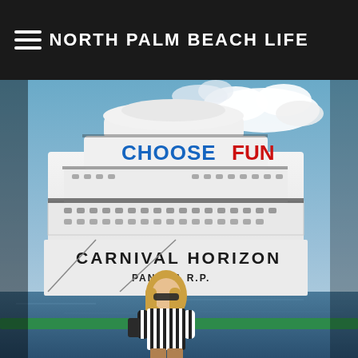NORTH PALM BEACH LIFE
[Figure (photo): A blonde woman wearing sunglasses and a black-and-white striped shirt standing in front of the Carnival Horizon cruise ship docked at a port. The ship has 'CHOOSE FUN' written in blue and red letters near the top, and 'CARNIVAL HORIZON' and 'PANAMA R.P.' painted on the white hull.]